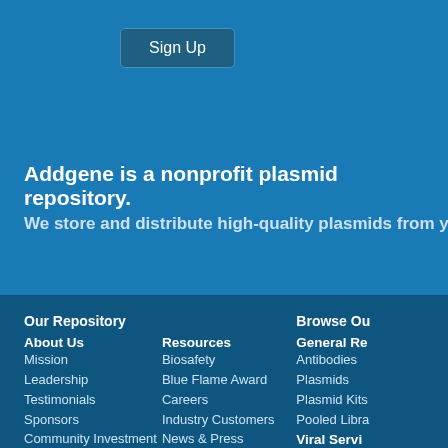[Figure (screenshot): Sign Up button on blue background header bar]
Addgene is a nonprofit plasmid repository.
We store and distribute high-quality plasmids from your colle
Our Repository
Browse Ou
About Us
General Re
Mission
Antibodies
Leadership
Plasmids
Testimonials
Plasmid Kits
Sponsors
Pooled Libra
Community Investment
Resources
Viral Servi
Financial Conflicts of Interest
Biosafety
AAV
Blue Flame Award
Lentivirus
Careers
Industry Customers
News & Press
Recipient Instructions
Technology Transfer